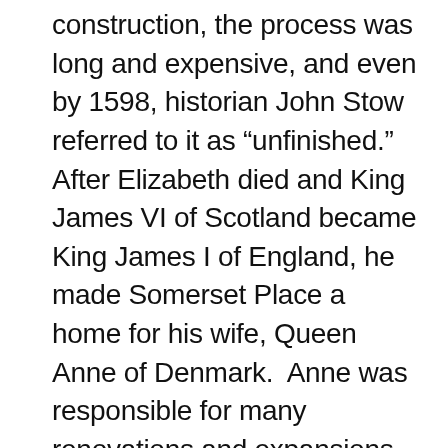construction, the process was long and expensive, and even by 1598, historian John Stow referred to it as “unfinished.”  After Elizabeth died and King James VI of Scotland became King James I of England, he made Somerset Place a home for his wife, Queen Anne of Denmark.  Anne was responsible for many renovations and expansions which were designed by Inigo Jones.  As a result of her work, the palace was renamed “Denmark House.”